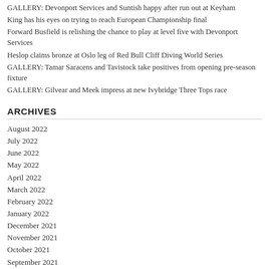GALLERY: Devonport Services and Suntish happy after run out at Keyham
King has his eyes on trying to reach European Championship final
Forward Busfield is relishing the chance to play at level five with Devonport Services
Heslop claims bronze at Oslo leg of Red Bull Cliff Diving World Series
GALLERY: Tamar Saracens and Tavistock take positives from opening pre-season fixture
GALLERY: Gilvear and Meek impress at new Ivybridge Three Tops race
ARCHIVES
August 2022
July 2022
June 2022
May 2022
April 2022
March 2022
February 2022
January 2022
December 2021
November 2021
October 2021
September 2021